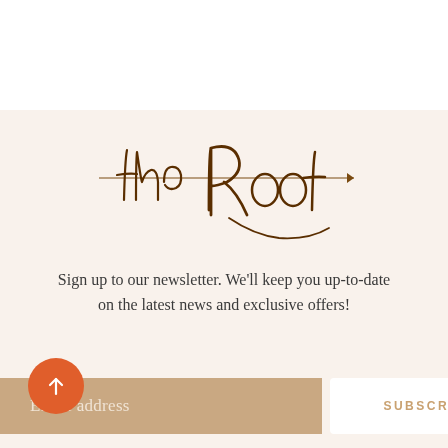[Figure (logo): Cursive script logo reading 'the Root' in dark brown handwritten style with decorative flourishes and a horizontal line through the lettering]
Sign up to our newsletter. We'll keep you up-to-date on the latest news and exclusive offers!
[Figure (other): Orange circular back-to-top button with upward arrow icon]
Email address
SUBSCRIBE